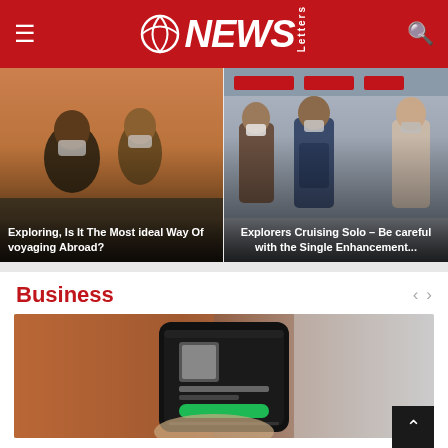AA News Letters
[Figure (photo): Two people wearing face masks looking out an airport window at the tarmac at sunset]
Exploring, Is It The Most ideal Way Of voyaging Abroad?
[Figure (photo): People wearing face masks walking through an airport terminal]
Explorers Cruising Solo – Be careful with the Single Enhancement...
Business
[Figure (photo): Person holding a smartphone displaying a Spotify-like music streaming app with a dark interface and green button]